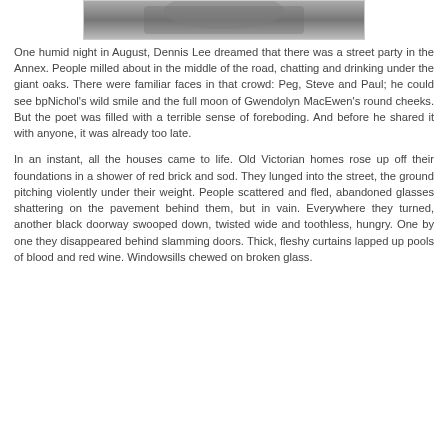[Figure (photo): Partial black and white photograph visible at the top of the page, cropped, showing an indistinct image.]
One humid night in August, Dennis Lee dreamed that there was a street party in the Annex. People milled about in the middle of the road, chatting and drinking under the giant oaks. There were familiar faces in that crowd: Peg, Steve and Paul; he could see bpNichol's wild smile and the full moon of Gwendolyn MacEwen's round cheeks. But the poet was filled with a terrible sense of foreboding. And before he shared it with anyone, it was already too late.
In an instant, all the houses came to life. Old Victorian homes rose up off their foundations in a shower of red brick and sod. They lunged into the street, the ground pitching violently under their weight. People scattered and fled, abandoned glasses shattering on the pavement behind them, but in vain. Everywhere they turned, another black doorway swooped down, twisted wide and toothless, hungry. One by one they disappeared behind slamming doors. Thick, fleshy curtains lapped up pools of blood and red wine. Windowsills chewed on broken glass.